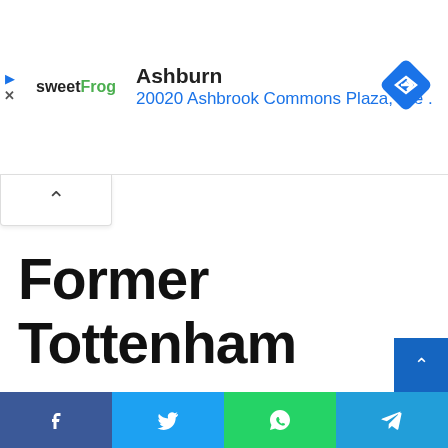[Figure (other): Advertisement banner: sweetFrog logo with location 'Ashburn' and address '20020 Ashbrook Commons Plaza, Ste .' and a blue navigation diamond icon, with play and close controls]
[Figure (other): Collapse/minimize button with upward chevron arrow]
Former Tottenham manager predicts Thomas Tuchel to
[Figure (other): Social sharing bar with Facebook, Twitter, WhatsApp, and Telegram buttons]